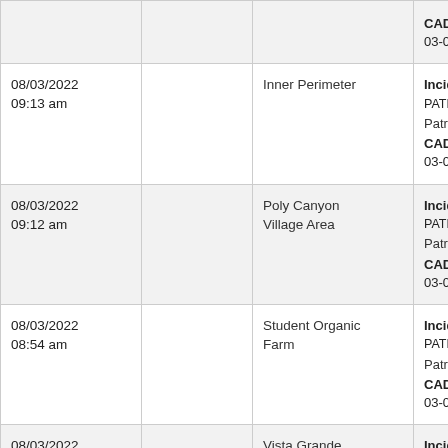| Date/Time |  | Location | Incident Info |
| --- | --- | --- | --- |
|  |  |  | CAD #: 22-08-03-00 |
| 08/03/2022
09:13 am |  | Inner Perimeter | Incident: PATROL A
Patrol Check
CAD #: 22-08-03-00 |
| 08/03/2022
09:12 am |  | Poly Canyon Village Area | Incident: PATROL A
Patrol Check
CAD #: 22-08-03-00 |
| 08/03/2022
08:54 am |  | Student Organic Farm | Incident: PATROL A
Patrol Check
CAD #: 22-08-03-00 |
| 08/03/2022
08:33 am |  | Vista Grande | Incident: ALARM - E
Emergency/Alarm
CAD #: 22-08-03-00 |
| 08/03/2022
07:45 am |  | Fremont Hall | Incident: ALARM - F
CAD #: 22-08-03-00 |
| 08/03/2022 |  |  | Incident: ALARM - F |